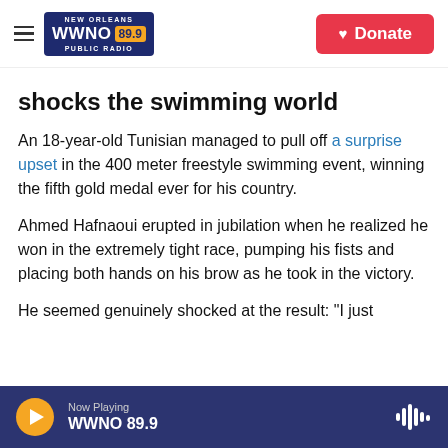WWNO 89.9 New Orleans Public Radio — Donate
shocks the swimming world
An 18-year-old Tunisian managed to pull off a surprise upset in the 400 meter freestyle swimming event, winning the fifth gold medal ever for his country.
Ahmed Hafnaoui erupted in jubilation when he realized he won in the extremely tight race, pumping his fists and placing both hands on his brow as he took in the victory.
He seemed genuinely shocked at the result: "I just
Now Playing WWNO 89.9